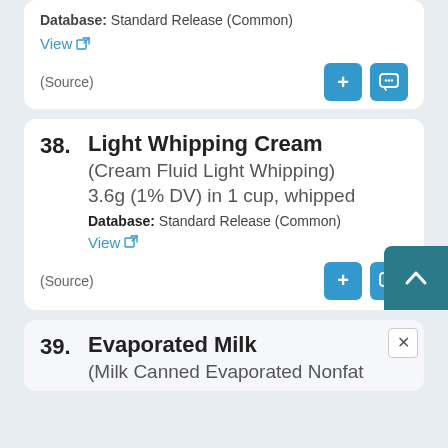Database: Standard Release (Common)
View
(Source)
38. Light Whipping Cream (Cream Fluid Light Whipping) 3.6g (1% DV) in 1 cup, whipped Database: Standard Release (Common) View (Source)
39. Evaporated Milk (Milk Canned Evaporated Nonfat